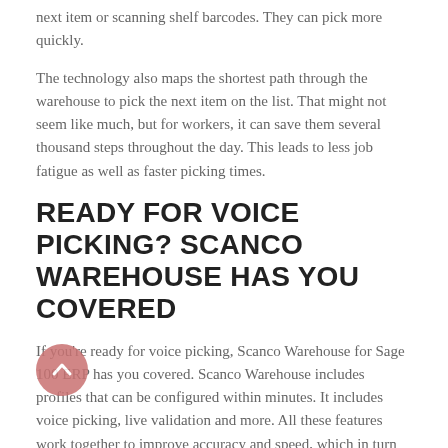next item or scanning shelf barcodes. They can pick more quickly.
The technology also maps the shortest path through the warehouse to pick the next item on the list. That might not seem like much, but for workers, it can save them several thousand steps throughout the day. This leads to less job fatigue as well as faster picking times.
READY FOR VOICE PICKING? SCANCO WAREHOUSE HAS YOU COVERED
If you're ready for voice picking, Scanco Warehouse for Sage 100 ERP has you covered. Scanco Warehouse includes profiles that can be configured within minutes. It includes voice picking, live validation and more. All these features work together to improve accuracy and speed, which in turn means less mistakes, fewer returns, and happier customers. Isn't that the name of the game when it comes to your business?